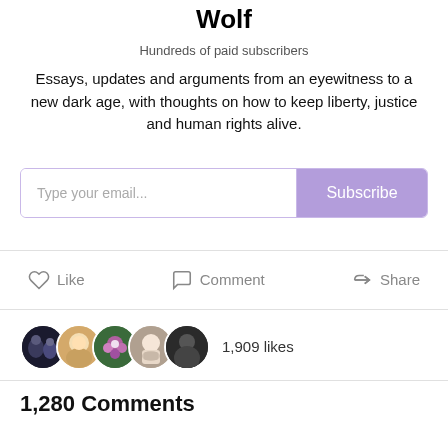Wolf
Hundreds of paid subscribers
Essays, updates and arguments from an eyewitness to a new dark age, with thoughts on how to keep liberty, justice and human rights alive.
Type your email... Subscribe
Like   Comment   Share
1,909 likes
1,280 Comments